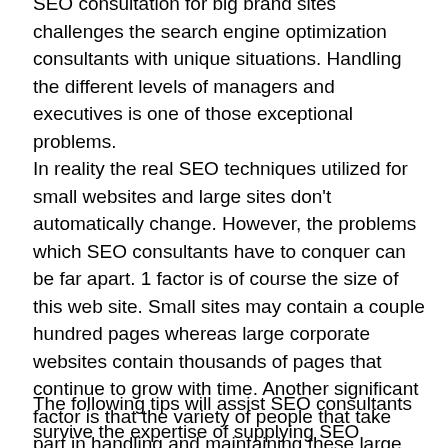SEO consultation for big brand sites challenges the search engine optimization consultants with unique situations. Handling the different levels of managers and executives is one of those exceptional problems.
In reality the real SEO techniques utilized for small websites and large sites don't automatically change. However, the problems which SEO consultants have to conquer can be far apart. 1 factor is of course the size of this web site. Small sites may contain a couple hundred pages whereas large corporate websites contain thousands of pages that continue to grow with time. Another significant factor is that the variety of people that take part in handling and maintaining these large sites. In a little site, it is generally the business owner who'll take all of the decisions, but with a massive site ten individuals or more might participate in the procedure.
The following tips will assist SEO consultants survive the expertise of supplying SEO consulting to large brand